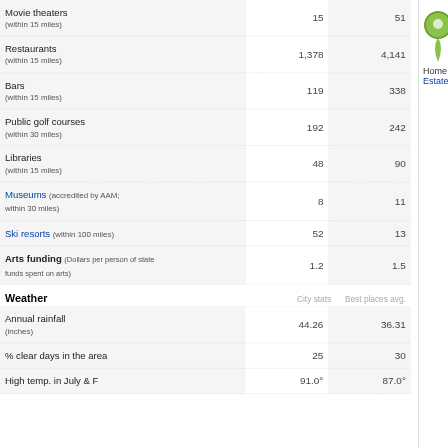|  | City stats | Best places avg. |
| --- | --- | --- |
| Movie theaters (within 15 miles) | 15 | 51 |
| Restaurants (within 15 miles) | 1,378 | 4,141 |
| Bars (within 15 miles) | 119 | 338 |
| Public golf courses (within 30 miles) | 192 | 242 |
| Libraries (within 15 miles) | 48 | 90 |
| Museums (accredited by AAM; within 30 miles) | 8 | 11 |
| Ski resorts (within 100 miles) | 52 | 13 |
| Arts funding (Dollars per person of state funds spent on arts) | 1.2 | 1.5 |
| Weather | City stats | Best places avg. |
| --- | --- | --- |
| Annual rainfall (inches) | 44.26 | 36.31 |
| % clear days in the area | 25 | 30 |
| High temp. in July & F | 91.0° | 87.0° |